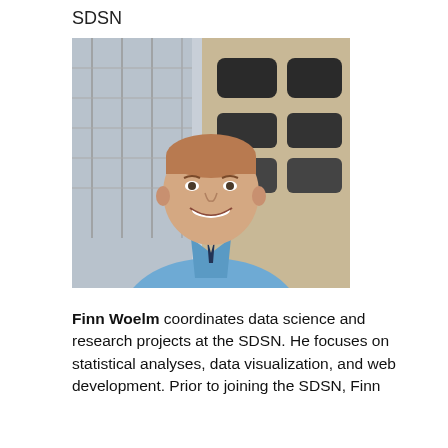SDSN
[Figure (photo): Headshot of Finn Woelm, a young man with short light brown hair, smiling, wearing a light blue button-up shirt, standing in front of a building with scaffolding and dark arched windows.]
Finn Woelm coordinates data science and research projects at the SDSN. He focuses on statistical analyses, data visualization, and web development. Prior to joining the SDSN, Finn performed data strategy and helpful for research and